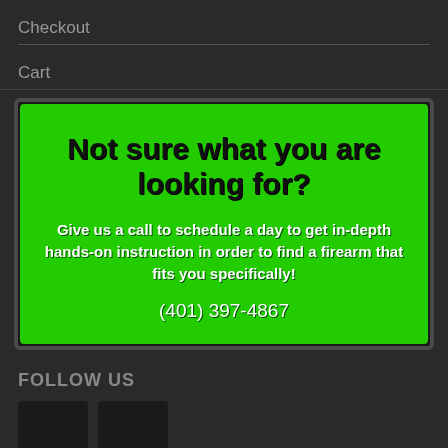Checkout
Cart
[Figure (infographic): Green promotional box with text: 'Not sure what you are looking for? Give us a call to schedule a day to get in-depth hands-on instruction in order to find a firearm that fits you specifically! (401) 397-4867']
FOLLOW US